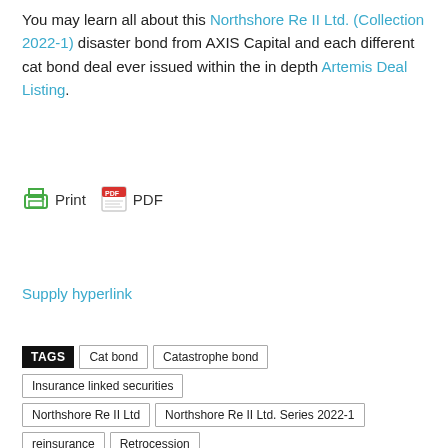You may learn all about this Northshore Re II Ltd. (Collection 2022-1) disaster bond from AXIS Capital and each different cat bond deal ever issued within the in depth Artemis Deal Listing.
[Figure (other): Print and PDF buttons with icons]
Supply hyperlink
TAGS  Cat bond  Catastrophe bond  Insurance linked securities  Northshore Re II Ltd  Northshore Re II Ltd. Series 2022-1  reinsurance  Retrocession